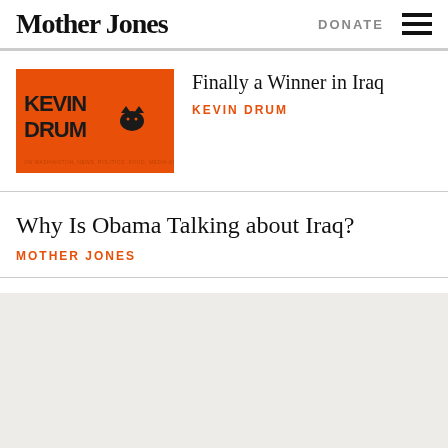Mother Jones
DONATE
[Figure (illustration): Kevin Drum orange blog header image with stylized text KEVIN DRUM in black on orange background]
Finally a Winner in Iraq
KEVIN DRUM
Why Is Obama Talking about Iraq?
MOTHER JONES